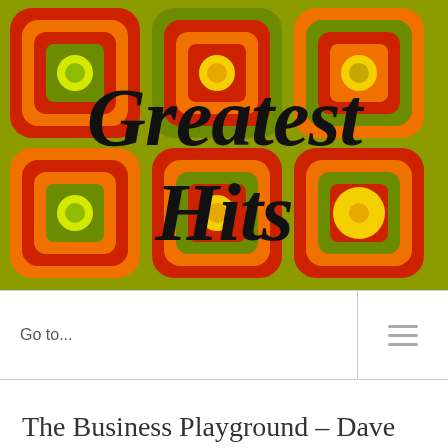[Figure (illustration): Greatest Hits banner image with retro 1970s style. Olive/yellow-green background with concentric rounded squares in red, orange, green colors arranged in a grid pattern. Bold black italic cursive text reads 'Greatest Hits' in the center. Each square contains a colored circle or dot in yellow-green, orange, yellow tones.]
Go to...
The Business Playground – Dave Stewart & Mark Simmons